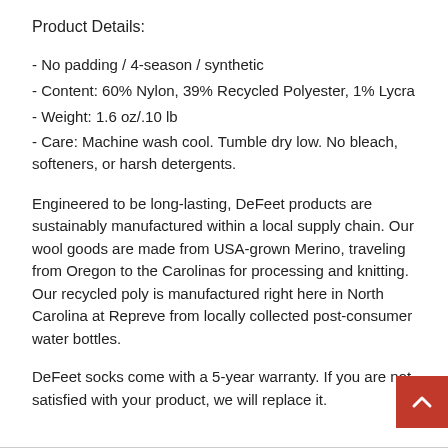Product Details:
- No padding / 4-season / synthetic
- Content: 60% Nylon, 39% Recycled Polyester, 1% Lycra
- Weight: 1.6 oz/.10 lb
- Care: Machine wash cool. Tumble dry low. No bleach, softeners, or harsh detergents.
Engineered to be long-lasting, DeFeet products are sustainably manufactured within a local supply chain. Our wool goods are made from USA-grown Merino, traveling from Oregon to the Carolinas for processing and knitting. Our recycled poly is manufactured right here in North Carolina at Repreve from locally collected post-consumer water bottles.
DeFeet socks come with a 5-year warranty. If you are not satisfied with your product, we will replace it.